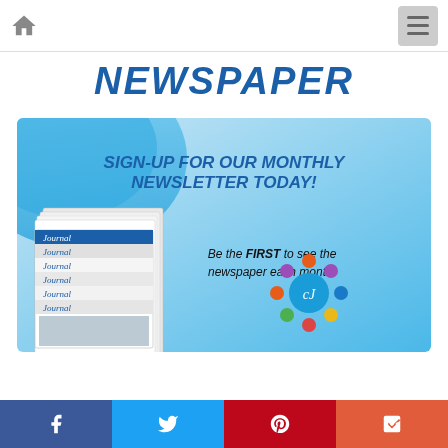Navigation bar with home icon and menu button
NEWSPAPER
[Figure (illustration): Newsletter signup banner: blue gradient background with stacked Journal newspaper magazines on left, text 'SIGN-UP FOR OUR MONTHLY NEWSLETTER TODAY!' and 'Be the FIRST to see the newspaper each month!' with colorful circular logo on right]
Social share bar: Facebook, Twitter, Pinterest, More